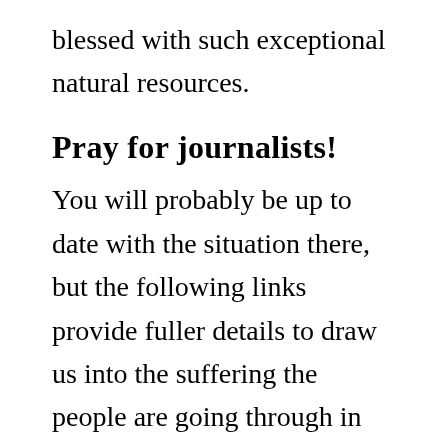blessed with such exceptional natural resources.
Pray for journalists!
You will probably be up to date with the situation there, but the following links provide fuller details to draw us into the suffering the people are going through in Zimbabwe and provide many pointers for prayer.
Reading these accounts is a poignant reminder of just how important the role of journalists is. What would we in the West know of all this, were it not for